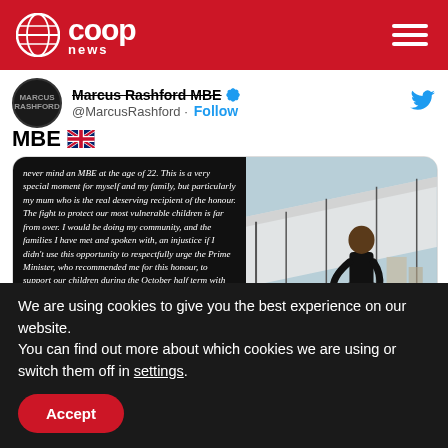Co-op News
Marcus Rashford MBE @MarcusRashford · Follow
MBE 🇬🇧
[Figure (screenshot): Tweet screenshot showing Marcus Rashford MBE text post alongside a photo of Marcus Rashford seated outdoors near a marquee tent, looking at his phone. The tweet text reads: 'never mind an MBE at the age of 22. This is a very special moment for myself and my family, but particularly my mum who is the real deserving recipient of the honour. The fight to protect our most vulnerable children is far from over. I would be doing my community, and the families I have met and spoken with, an injustice if I didn't use this opportunity to respectfully urge the Prime Minister, who recommended me for this honour, to support our children during the October half term with an extension of the voucher scheme, as the furlough scheme']
We are using cookies to give you the best experience on our website.
You can find out more about which cookies we are using or switch them off in settings.
Accept